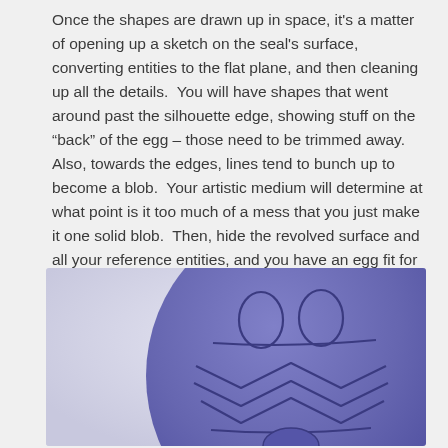Once the shapes are drawn up in space, it's a matter of opening up a sketch on the seal's surface, converting entities to the flat plane, and then cleaning up all the details.  You will have shapes that went around past the silhouette edge, showing stuff on the "back" of the egg – those need to be trimmed away.  Also, towards the edges, lines tend to bunch up to become a blob.  Your artistic medium will determine at what point is it too much of a mess that you just make it one solid blob.  Then, hide the revolved surface and all your reference entities, and you have an egg fit for Peter Rabit.
[Figure (illustration): A 3D rendered purple/periwinkle egg shape decorated with carved line patterns: two oval shapes near the top resembling eyes, and chevron/zigzag patterns in the lower portion, on a light gray-blue background.]